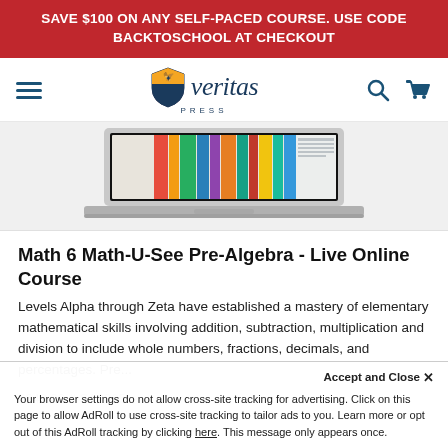SAVE $100 ON ANY SELF-PACED COURSE. USE CODE BACKTOSCHOOL AT CHECKOUT
[Figure (logo): Veritas Press logo with shield icon and italic 'veritas' text, PRESS subtitle, hamburger menu, search and cart icons]
[Figure (photo): Laptop computer displaying colorful book spines on screen, partially cropped]
Math 6 Math-U-See Pre-Algebra - Live Online Course
Levels Alpha through Zeta have established a mastery of elementary mathematical skills involving addition, subtraction, multiplication and division to include whole numbers, fractions, decimals, and percentages. Pre...
$649.00 # SA2825
Accept and Close ✕
Your browser settings do not allow cross-site tracking for advertising. Click on this page to allow AdRoll to use cross-site tracking to tailor ads to you. Learn more or opt out of this AdRoll tracking by clicking here. This message only appears once.